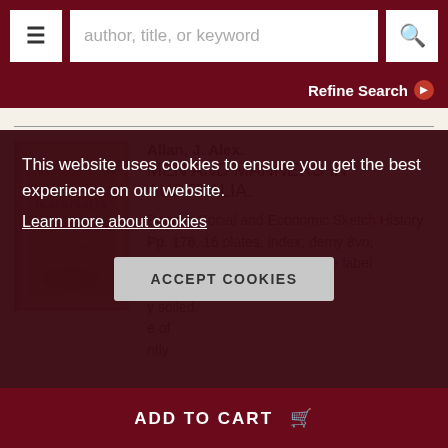author, title, or keyword | Refine Search
[Figure (photo): Book cover of Men and Manners in Australia by J. Alex Allan, brown cloth binding with title text]
Allan, J. Alex. MEN AND MANNERS IN AUSTRALIA. Being a Social and Economic Sketch History. Pp. 176, 16 plates, index; demy 8vo; green cloth, full length printed title label edges soiled, e of ntly
This website uses cookies to ensure you get the best experience on our website.
Learn more about cookies
ACCEPT COOKIES
ADD TO CART